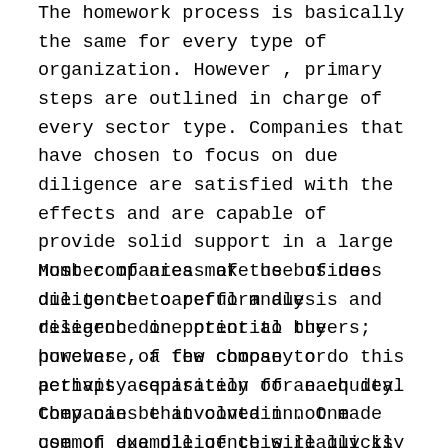The homework process is basically the same for every type of organization. However , primary steps are outlined in charge of every sector type. Companies that have chosen to focus on due diligence are satisfied with the effects and are capable of provide solid support in a large number of areas of the business due to the careful analysis and research done prior to the purchase of the company or perhaps acquisition of an equity. Companies that contain not made use of due diligence will quickly realize the benefits occasionally but just as they start to see the need.
Most companies make use of due diligence to perform due diligence in potential buyers; however , a few choose to do this activity separately for each deal they can be involved in. One common example of this really is a real estate deal, which may include the acquisition of property or any type of secondary transfer of equity due to the pay for. The research process with regards to such bargains typically comprises the review of economical statements and a search belonging to the seller's credit ranking to determine the